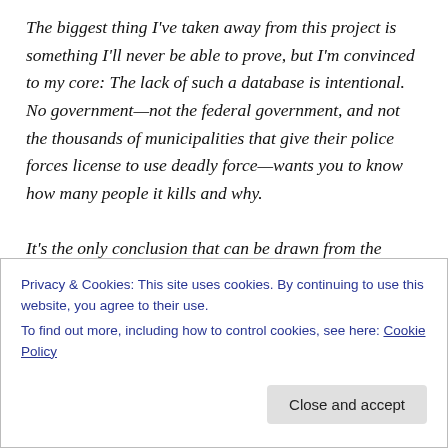The biggest thing I've taken away from this project is something I'll never be able to prove, but I'm convinced to my core: The lack of such a database is intentional. No government—not the federal government, and not the thousands of municipalities that give their police forces license to use deadly force—wants you to know how many people it kills and why.

It's the only conclusion that can be drawn from the evidence. What evidence? In attempting to collect this
Privacy & Cookies: This site uses cookies. By continuing to use this website, you agree to their use.
To find out more, including how to control cookies, see here: Cookie Policy